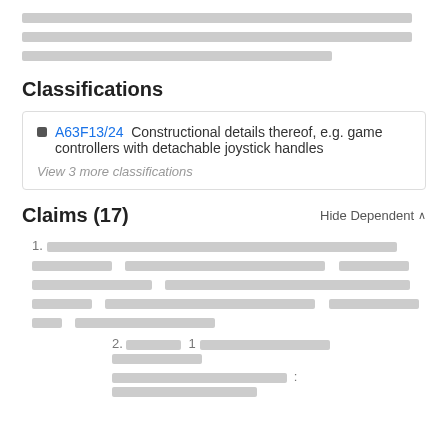[redacted text block - top paragraph]
Classifications
A63F13/24  Constructional details thereof, e.g. game controllers with detachable joystick handles
View 3 more classifications
Claims (17)
Hide Dependent ^
1. [redacted claim text]
2. [redacted claim text - dependent]